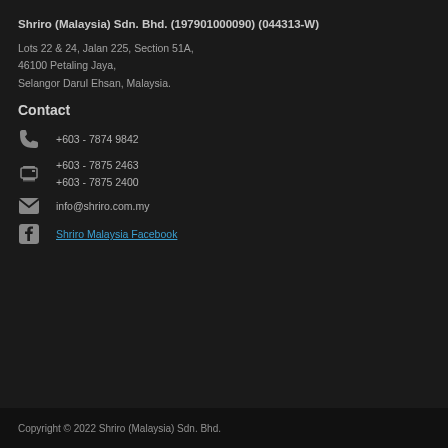Shriro (Malaysia) Sdn. Bhd. (197901000090) (044313-W)
Lots 22 & 24, Jalan 225, Section 51A,
46100 Petaling Jaya,
Selangor Darul Ehsan, Malaysia.
Contact
+603 - 7874 9842
+603 - 7875 2463
+603 - 7875 2400
info@shriro.com.my
Shriro Malaysia Facebook
Copyright © 2022 Shriro (Malaysia) Sdn. Bhd.